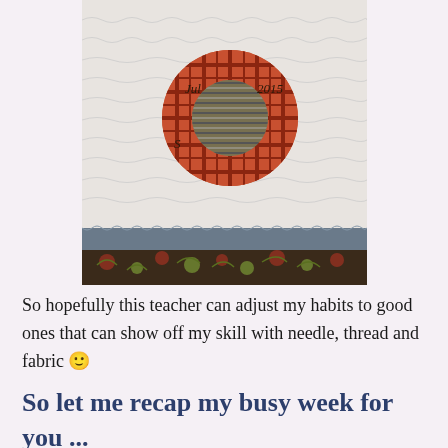[Figure (photo): Close-up photograph of a quilt showing a circular plaid fabric appliqué with embroidered text reading 'Jul 2015 S...' on a white textured quilted background, with a dark blue fabric border and floral fabric at the bottom.]
So hopefully this teacher can adjust my habits to good ones that can show off my skill with needle, thread and fabric 🙂
So let me recap my busy week for you ...